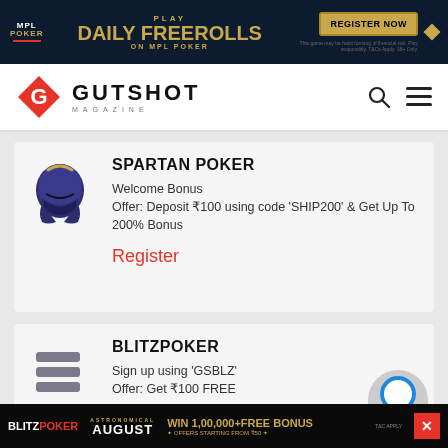[Figure (screenshot): MPL Poker banner advertisement: dark navy background with gold text 'PLAY DAILY FREEROLLS ON MPL POKER' and a 'REGISTER NOW' button in gold. MPL Poker logo on left, diamond icon on right.]
[Figure (logo): Gutshot Magazine logo: red diamond G icon with 'GUTSHOT MAGAZINE' text in black. Search icon and hamburger menu on the right.]
[Figure (logo): Spartan Poker helmet logo in navy/dark blue]
SPARTAN POKER
Welcome Bonus
Offer: Deposit ₹100 using code 'SHIP200' & Get Up To 200% Bonus
Register
[Figure (logo): BlitzPoker logo: stylized B icon in grey]
BLITZPOKER
Sign up using 'GSBLZ'
Offer: Get ₹100 FREE
Register
[Figure (screenshot): BlitzPoker bottom banner ad: black background with 'BLITZPOKER', 'ASTRONOMICAL AUGUST', 'WIN 1,00,000 + FREE BONUS', 'OFFERS STARTING FROM ₹50', T&C apply, red X close button]